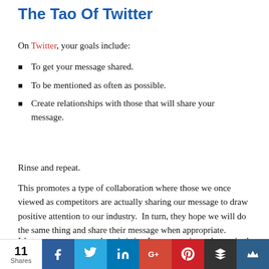The Tao Of Twitter
On Twitter, your goals include:
To get your message shared.
To be mentioned as often as possible.
Create relationships with those that will share your message.
Rinse and repeat.
This promotes a type of collaboration where those we once viewed as competitors are actually sharing our message to draw positive attention to our industry.  In turn, they hope we will do the same thing and share their message when appropriate.
It’s trust, openness, and a win/win.  It may require a change in the way one views business culture.
[Figure (infographic): Social share bar showing 11 Shares count and social media buttons: Facebook, Twitter, LinkedIn, Google+, Pinterest, Buffer, and another share button]